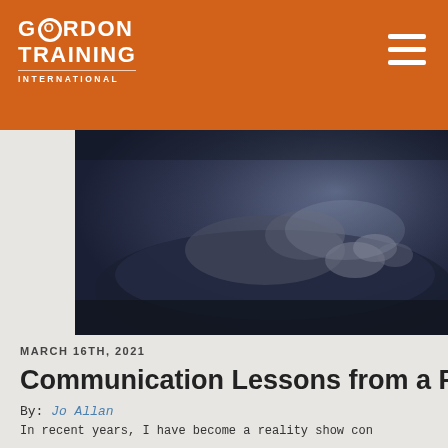GORDON TRAINING INTERNATIONAL
[Figure (photo): Blurred dark blue-toned hero image showing what appears to be a sleeping cat or animal on a pillow/cushion]
MARCH 16TH, 2021
Communication Lessons from a Reali
By: Jo Allan
In recent years, I have become a reality show con
READ MORE